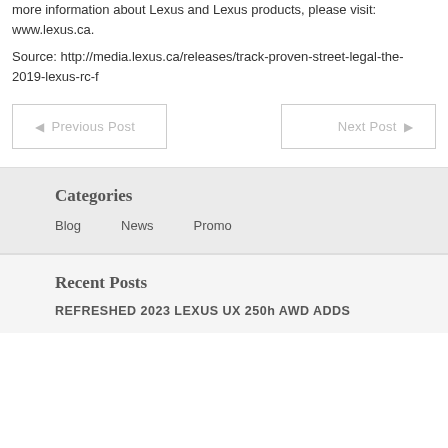more information about Lexus and Lexus products, please visit: www.lexus.ca.
Source: http://media.lexus.ca/releases/track-proven-street-legal-the-2019-lexus-rc-f
◄  Previous Post
Next Post  ►
Categories
Blog
News
Promo
Recent Posts
REFRESHED 2023 LEXUS UX 250h AWD ADDS